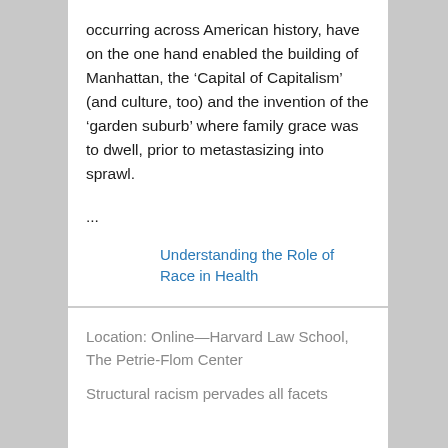occurring across American history, have on the one hand enabled the building of Manhattan, the ‘Capital of Capitalism’ (and culture, too) and the invention of the ‘garden suburb’ where family grace was to dwell, prior to metastasizing into sprawl.
...
Understanding the Role of Race in Health
Location: Online—Harvard Law School, The Petrie-Flom Center
Structural racism pervades all facets